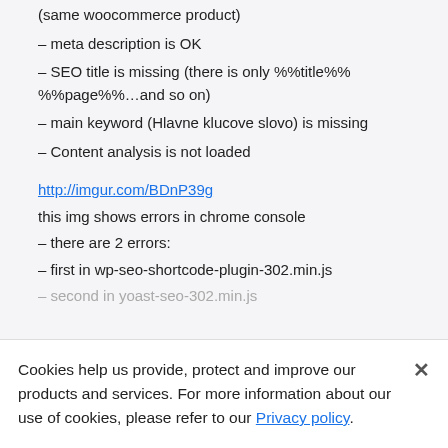(same woocommerce product)
– meta description is OK
– SEO title is missing (there is only %%title%% %%page%%…and so on)
– main keyword (Hlavne klucove slovo) is missing
– Content analysis is not loaded
http://imgur.com/BDnP39g
this img shows errors in chrome console
– there are 2 errors:
– first in wp-seo-shortcode-plugin-302.min.js
– second in yoast-seo-302.min.js (faded/behind banner)
Cookies help us provide, protect and improve our products and services. For more information about our use of cookies, please refer to our Privacy policy.